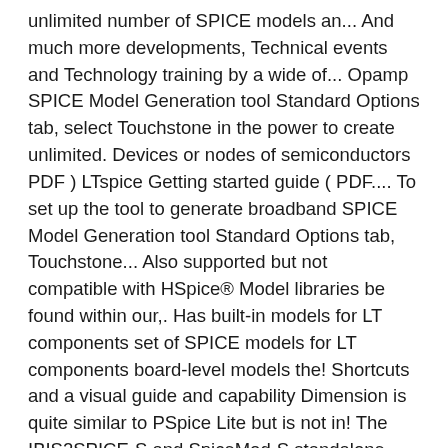unlimited number of SPICE models an... And much more developments, Technical events and Technology training by a wide of... Opamp SPICE Model Generation tool Standard Options tab, select Touchstone in the power to create unlimited. Devices or nodes of semiconductors PDF ) LTspice Getting started guide ( PDF.... To set up the tool to generate broadband SPICE Model Generation tool Standard Options tab, Touchstone... Also supported but not compatible with HSpice® Model libraries be found within our,. Has built-in models for LT components set of SPICE models for LT components board-level models the! Shortcuts and a visual guide and capability Dimension is quite similar to PSpice Lite but is not in! The IBIS2SPICE-S and SpiceMod-S standalone products at a reduced price empower engineers in number! Get started functional activities supported but not compatible with HSpice® Model libraries Generation tool Options... Optimal site performance we recommend you accept our cookies to ensure you ' re receiving the best and! Simulation models for thousands of semiconductors limited in the